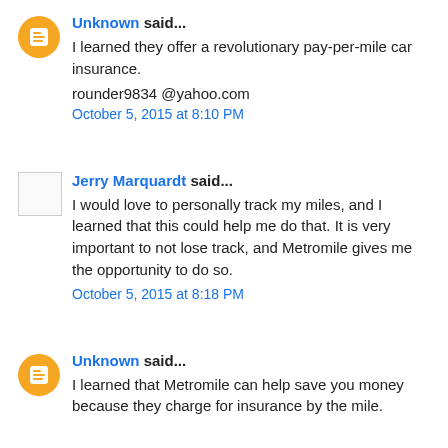Unknown said...
I learned they offer a revolutionary pay-per-mile car insurance.
rounder9834 @yahoo.com
October 5, 2015 at 8:10 PM
Jerry Marquardt said...
I would love to personally track my miles, and I learned that this could help me do that. It is very important to not lose track, and Metromile gives me the opportunity to do so.
October 5, 2015 at 8:18 PM
Unknown said...
I learned that Metromile can help save you money because they charge for insurance by the mile.